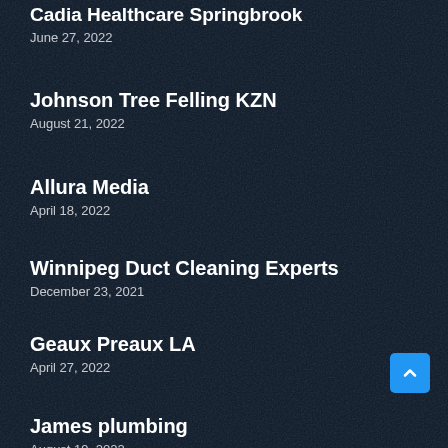Cadia Healthcare Springbrook
June 27, 2022
Johnson Tree Felling KZN
August 21, 2022
Allura Media
April 18, 2022
Winnipeg Duct Cleaning Experts
December 23, 2021
Geaux Preaux LA
April 27, 2022
James plumbing
August 19, 2022